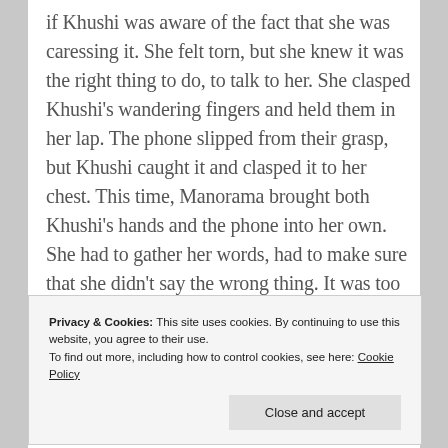if Khushi was aware of the fact that she was caressing it. She felt torn, but she knew it was the right thing to do, to talk to her. She clasped Khushi's wandering fingers and held them in her lap. The phone slipped from their grasp, but Khushi caught it and clasped it to her chest. This time, Manorama brought both Khushi's hands and the phone into her own. She had to gather her words, had to make sure that she didn't say the wrong thing. It was too important for Manorama.
Privacy & Cookies: This site uses cookies. By continuing to use this website, you agree to their use.
To find out more, including how to control cookies, see here: Cookie Policy